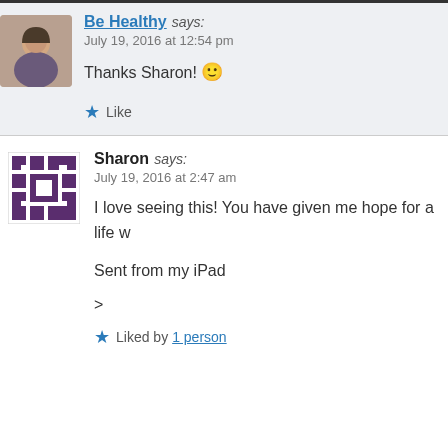Be Healthy says: July 19, 2016 at 12:54 pm
Thanks Sharon! 🙂
Like
Sharon says: July 19, 2016 at 2:47 am
I love seeing this! You have given me hope for a life w
Sent from my iPad
>
Liked by 1 person